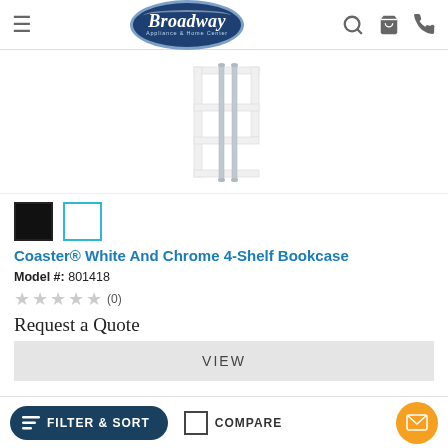Broadway Appliance & Home Center
[Figure (photo): White and chrome 4-shelf bookcase product image on white background]
Color swatches: black and white
Coaster® White And Chrome 4-Shelf Bookcase
Model #: 801418
★★★★★ (0)
Request a Quote
VIEW
FILTER & SORT   COMPARE